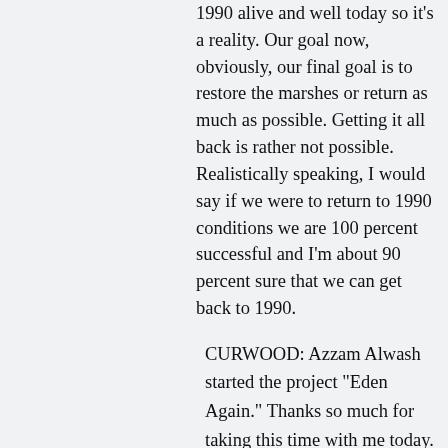1990 alive and well today so it's a reality. Our goal now, obviously, our final goal is to restore the marshes or return as much as possible. Getting it all back is rather not possible. Realistically speaking, I would say if we were to return to 1990 conditions we are 100 percent successful and I'm about 90 percent sure that we can get back to 1990.
CURWOOD: Azzam Alwash started the project "Eden Again." Thanks so much for taking this time with me today.
ALWASH: Thank you for having me.
[MUSIC: Tillman & Ambient Groove Artists "7 Sarisa Lingo (Musica Helvetica) 1997]